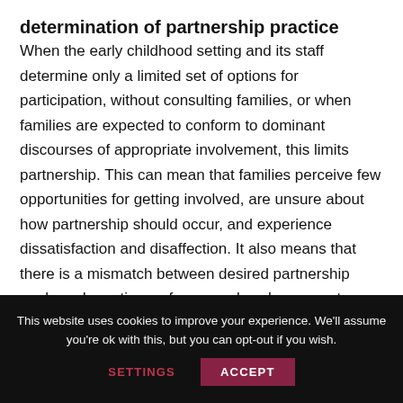determination of partnership practice
When the early childhood setting and its staff determine only a limited set of options for participation, without consulting families, or when families are expected to conform to dominant discourses of appropriate involvement, this limits partnership. This can mean that families perceive few opportunities for getting involved, are unsure about how partnership should occur, and experience dissatisfaction and disaffection. It also means that there is a mismatch between desired partnership goals and practices – for example, when parent helpers want to get to know teachers and curriculum, but are
This website uses cookies to improve your experience. We'll assume you're ok with this, but you can opt-out if you wish.